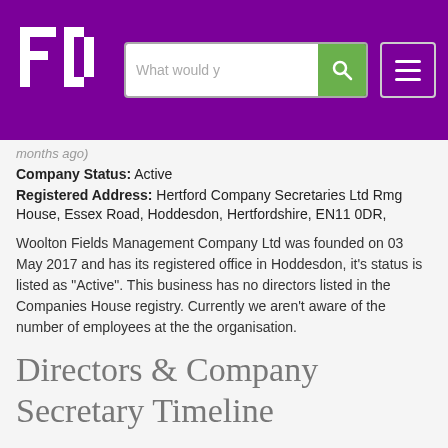[Figure (logo): FD logo white letters on purple background with search bar and hamburger menu]
months ago)
Company Status: Active
Registered Address: Hertford Company Secretaries Ltd Rmg House, Essex Road, Hoddesdon, Hertfordshire, EN11 0DR,
Woolton Fields Management Company Ltd was founded on 03 May 2017 and has its registered office in Hoddesdon, it's status is listed as "Active". This business has no directors listed in the Companies House registry. Currently we aren't aware of the number of employees at the the organisation.
Directors & Company Secretary Timeline